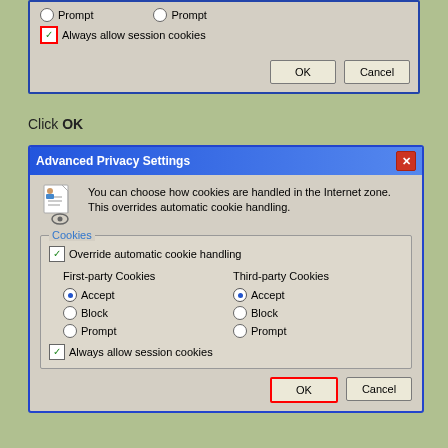[Figure (screenshot): Top portion of Advanced Privacy Settings dialog showing radio buttons for Prompt options and a checked 'Always allow session cookies' checkbox highlighted with red border, plus OK and Cancel buttons]
Click OK
[Figure (screenshot): Advanced Privacy Settings dialog window with title bar, info text about cookies in Internet zone, Cookies group box with Override automatic cookie handling checkbox, First-party and Third-party cookie options (Accept selected for both), Always allow session cookies checkbox, and OK button highlighted with red border plus Cancel button]